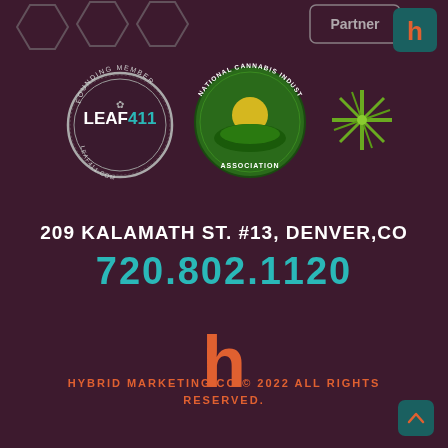[Figure (logo): Top area with partner logos including hexagon badges, Partner badge, LEAF411 founding member badge, National Cannabis Industry Association badge, cannabis leaf icon, and H icon]
209 KALAMATH ST. #13, DENVER,CO
720.802.1120
[Figure (logo): Hybrid Marketing Co stylized 'h' logo in orange]
HYBRID MARKETING CO © 2022 ALL RIGHTS RESERVED.